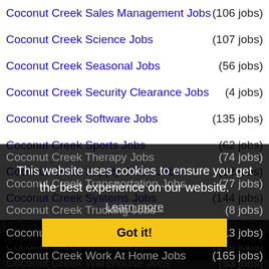Coconut Creek Sales Management Jobs (106 jobs)
Coconut Creek Science Jobs (107 jobs)
Coconut Creek Seasonal Jobs (56 jobs)
Coconut Creek Security Clearance Jobs (4 jobs)
Coconut Creek Software Jobs (135 jobs)
Coconut Creek Sports Jobs (62 jobs)
Coconut Creek Supply Chain Jobs (12 jobs)
Coconut Creek Systems Jobs (144 jobs)
Coconut Creek Tax Jobs (40 jobs)
Coconut Creek Telecom Jobs (3 jobs)
Coconut Creek Therapy Jobs (74 jobs)
Coconut Creek Transportation Jobs (77 jobs)
Coconut Creek Trucking Jobs (8 jobs)
Coconut Creek Underwriting Jobs (6 jobs)
Coconut Creek Warehouse Jobs (53 jobs)
Coconut Creek Wellness Jobs (146 jobs)
Coconut Creek Wireless Jobs (13 jobs)
Coconut Creek Work At Home Jobs (165 jobs)
This website uses cookies to ensure you get the best experience on our website. Learn more Got it!